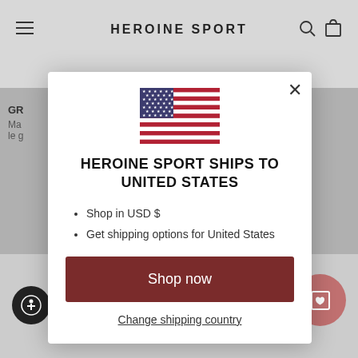[Figure (screenshot): Background of Heroine Sport website with dimmed overlay showing header, navigation, and partial product listing]
[Figure (illustration): US flag SVG icon centered in modal]
HEROINE SPORT SHIPS TO UNITED STATES
Shop in USD $
Get shipping options for United States
Shop now
Change shipping country